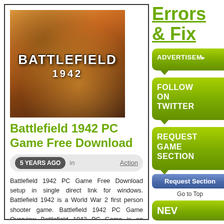[Figure (photo): Battlefield 1942 PC game cover art showing explosive war scene with BATTLEFIELD text and 1942 subtitle]
Battlefield 1942 PC Game Free Download
5 YEARS AGO  in  Action
Battlefield 1942 PC Game Free Download setup in single direct link for windows. Battlefield 1942 is a World War 2 first person shooter game. Battlefield 1942 PC Game Overview Battlefield 1942 PC Game is an interesting 3D game developed by Swedish company Digital Illusions CE and published by [...]
Errors & Fix
ADVERTISEMENT
FOLLOW ON TWITTER
REQUEST GAME SECTION
Request Section
Go to Top
NEW